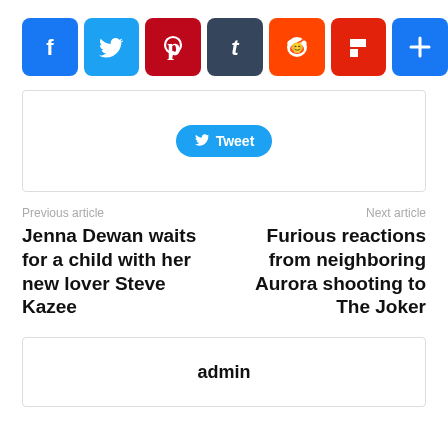[Figure (other): Row of social sharing icon buttons: Facebook, Twitter, Pinterest, Tumblr, Reddit, Flipboard, Share/Add]
[Figure (screenshot): Twitter Tweet embedded widget box with a blue Tweet button]
Previous article
Jenna Dewan waits for a child with her new lover Steve Kazee
Next article
Furious reactions from neighboring Aurora shooting to The Joker
admin